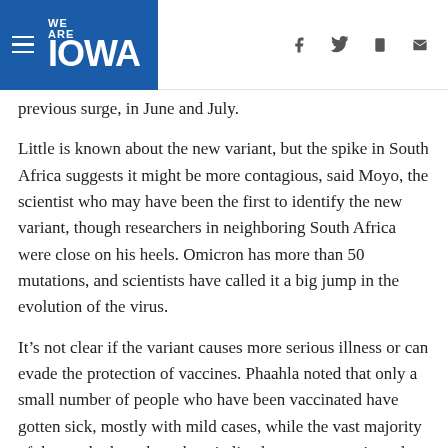WE ARE IOWA
previous surge, in June and July.
Little is known about the new variant, but the spike in South Africa suggests it might be more contagious, said Moyo, the scientist who may have been the first to identify the new variant, though researchers in neighboring South Africa were close on his heels. Omicron has more than 50 mutations, and scientists have called it a big jump in the evolution of the virus.
It’s not clear if the variant causes more serious illness or can evade the protection of vaccines. Phaahla noted that only a small number of people who have been vaccinated have gotten sick, mostly with mild cases, while the vast majority of those who have been hospitalized were not vaccinated.
But in a worrisome development, South African scientists reported that omicron appears more likely than earlier variants to cause reinfections among people who have